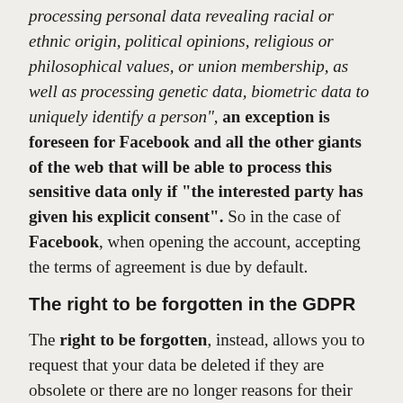processing personal data revealing racial or ethnic origin, political opinions, religious or philosophical values, or union membership, as well as processing genetic data, biometric data to uniquely identify a person", an exception is foreseen for Facebook and all the other giants of the web that will be able to process this sensitive data only if "the interested party has given his explicit consent". So in the case of Facebook, when opening the account, accepting the terms of agreement is due by default.
The right to be forgotten in the GDPR
The right to be forgotten, instead, allows you to request that your data be deleted if they are obsolete or there are no longer reasons for their usage. From the time of implementation in May 2014, the previous privacy policy known as Cookie Policy, the links